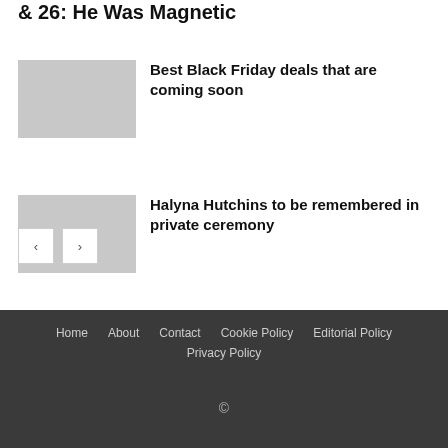& 26: He Was Magnetic
Best Black Friday deals that are coming soon
Halyna Hutchins to be remembered in private ceremony
Home  About  Contact  Cookie Policy  Editorial Policy  Privacy Policy  ©